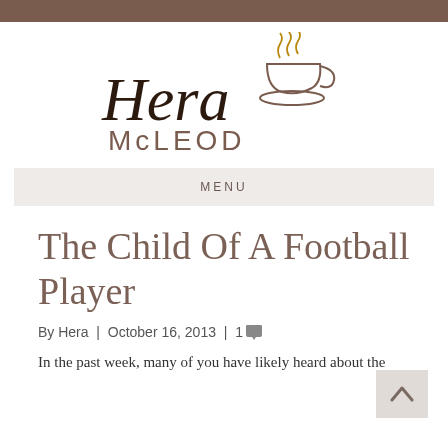[Figure (logo): Hera McLeod blog logo with stylized cursive 'Hera' text and coffee cup icon above 'McLEOD' in serif capitals]
MENU
The Child Of A Football Player
By Hera | October 16, 2013 | 1
In the past week, many of you have likely heard about the